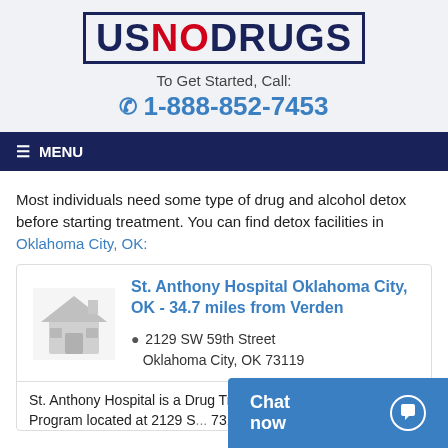[Figure (logo): USNODRUGS logo with dark blue US, red NO, and dark blue DRUGS text inside a dark blue bordered box]
To Get Started, Call:
1-888-852-7453
≡ MENU
Most individuals need some type of drug and alcohol detox before starting treatment. You can find detox facilities in Oklahoma City, OK:
St. Anthony Hospital Oklahoma City, OK - 34.7 miles from Verden
2129 SW 59th Street
Oklahoma City, OK 73119
St. Anthony Hospital is a Drug Treatment and Alcohol Rehab Program located at 2129 S... 73119. Their primary treatm...